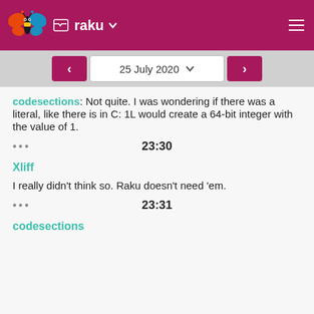raku
25 July 2020
codesections: Not quite. I was wondering if there was a literal, like there is in C: 1L would create a 64-bit integer with the value of 1.
••• 23:30
Xliff
I really didn't think so. Raku doesn't need 'em.
••• 23:31
codesections